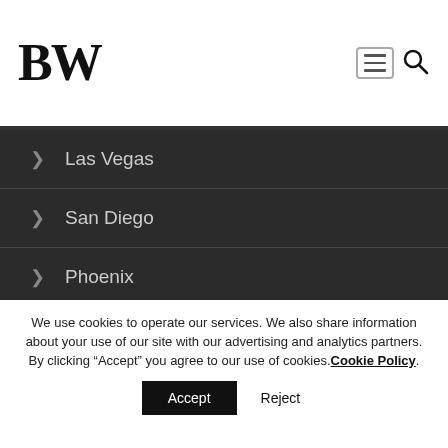BW
Las Vegas
San Diego
Phoenix
Reno
Riverside
We use cookies to operate our services. We also share information about your use of our site with our advertising and analytics partners. By clicking “Accept” you agree to our use of cookies. Cookie Policy
Accept  Reject